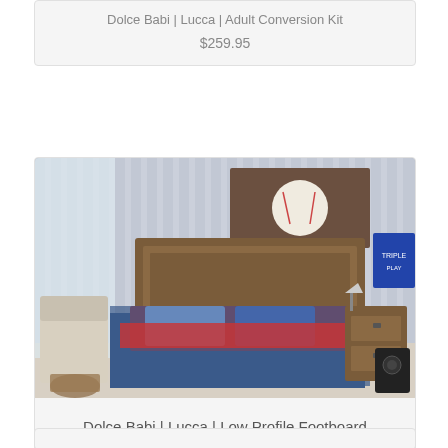Dolce Babi | Lucca | Adult Conversion Kit
$259.95
[Figure (photo): Photo of a children's bedroom with a dark wood panel bed, blue and red bedding, striped wallpaper, and a nightstand. A baseball artwork hangs above the headboard.]
Dolce Babi | Lucca | Low Profile Footboard
$299.95